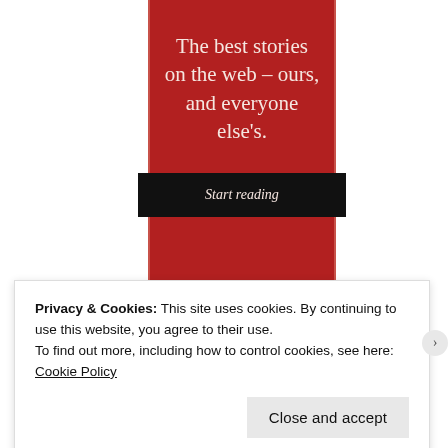[Figure (other): Red promotional banner with white serif text reading 'The best stories on the web – ours, and everyone else's.' and a black 'Start reading' button below]
Privacy & Cookies: This site uses cookies. By continuing to use this website, you agree to their use.
To find out more, including how to control cookies, see here: Cookie Policy
Close and accept